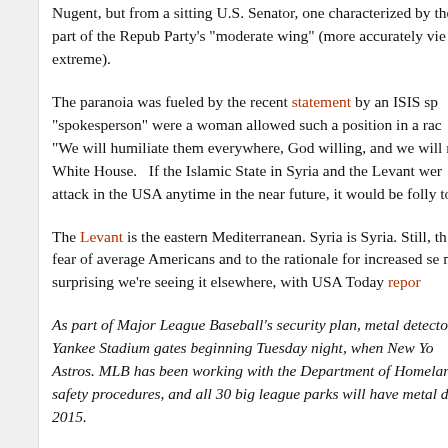Nugent, but from a sitting U.S. Senator, one characterized by the part of the Repub Party's "moderate wing" (more accurately viewed as extreme).
The paranoia was fueled by the recent statement by an ISIS sp... "spokesperson" were a woman allowed such a position in a rac... "We will humiliate them everywhere, God willing, and we will ra... White House." If the Islamic State in Syria and the Levant wer... attack in the USA anytime in the near future, it would be folly to...
The Levant is the eastern Mediterranean. Syria is Syria. Still, th... fear of average Americans and to the rationale for increased se... not surprising we're seeing it elsewhere, with USA Today repor...
As part of Major League Baseball's security plan, metal detecto... Yankee Stadium gates beginning Tuesday night, when New Yo... Astros. MLB has been working with the Department of Homelan... safety procedures, and all 30 big league parks will have metal d... 2015.
The Yankees tried to prepare fans for the change, announcing ... start implementing the new system on this homestand. It will re...